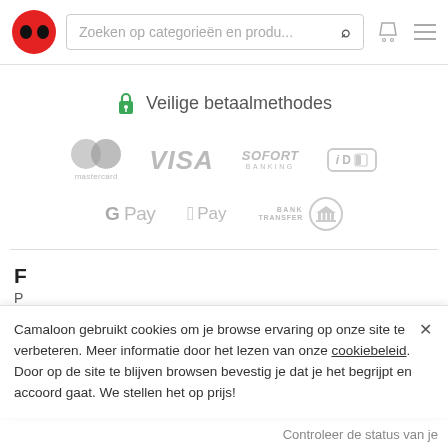Zoeken op categorieën en produ...
Veilige betaalmethodes
[Figure (logo): Payment method logos: Mastercard, VISA, SOFORT Banking, iDEAL, G Pay, Apple Pay, Bank Transfer]
F
P
T
Camaloon gebruikt cookies om je browse ervaring op onze site te verbeteren. Meer informatie door het lezen van onze cookiebeleid. Door op de site te blijven browsen bevestig je dat je het begrijpt en accoord gaat. We stellen het op prijs!
Controleer de status van je